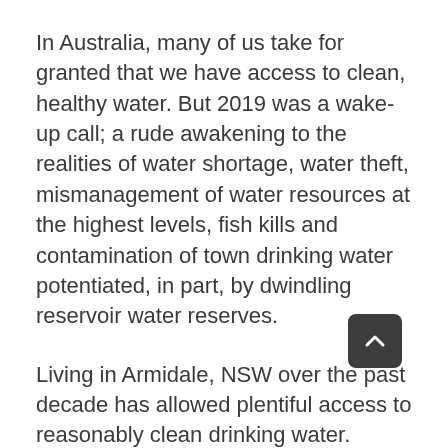In Australia, many of us take for granted that we have access to clean, healthy water. But 2019 was a wake-up call; a rude awakening to the realities of water shortage, water theft, mismanagement of water resources at the highest levels, fish kills and contamination of town drinking water potentiated, in part, by dwindling reservoir water reserves.
Living in Armidale, NSW over the past decade has allowed plentiful access to reasonably clean drinking water. However, 35Km to the north, the township of Guyra has run out of water and in late 2019 water was being trucked and pumped in with